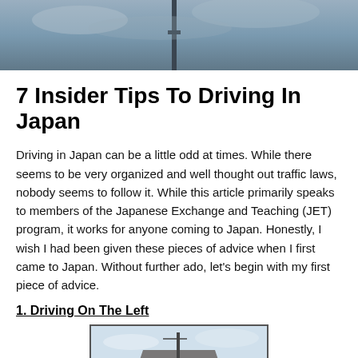[Figure (photo): Top portion of a photo showing a cloudy sky with what appears to be a pole or structure]
7 Insider Tips To Driving In Japan
Driving in Japan can be a little odd at times. While there seems to be very organized and well thought out traffic laws, nobody seems to follow it. While this article primarily speaks to members of the Japanese Exchange and Teaching (JET) program, it works for anyone coming to Japan. Honestly, I wish I had been given these pieces of advice when I first came to Japan. Without further ado, let's begin with my first piece of advice.
1. Driving On The Left
[Figure (photo): Photo showing a building with roof and antenna/pole against a light sky, Japanese street scene]